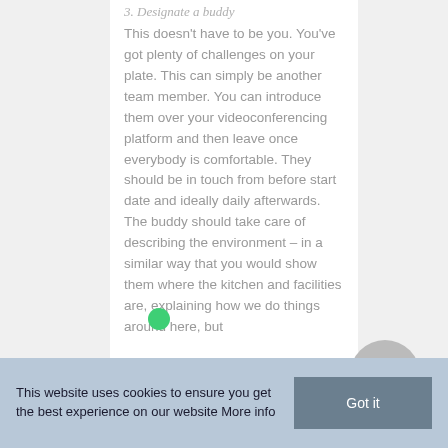3. Designate a buddy
This doesn't have to be you. You've got plenty of challenges on your plate. This can simply be another team member. You can introduce them over your videoconferencing platform and then leave once everybody is comfortable. They should be in touch from before start date and ideally daily afterwards. The buddy should take care of describing the environment – in a similar way that you would show them where the kitchen and facilities are, explaining how we do things around here, but
This website uses cookies to ensure you get the best experience on our website More info